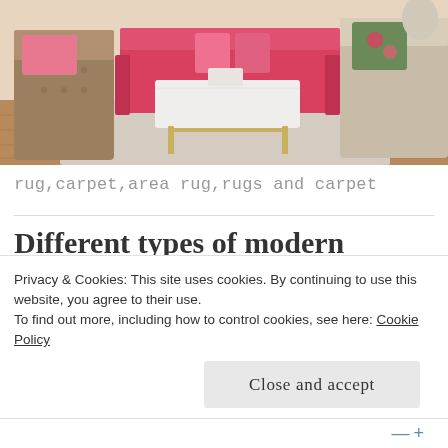[Figure (photo): Interior living room scene with pink/red sofa, tufted leather chair, white marble coffee table, and area rug on hardwood floor]
rug,carpet,area rug,rugs and carpet
Different types of modern designer rugs and carpet
OCTOBER 5, 2017 ~ LEAVE A COMMENT
As the winter nights come and temperatures begin
Privacy & Cookies: This site uses cookies. By continuing to use this website, you agree to their use.
To find out more, including how to control cookies, see here: Cookie Policy
Close and accept